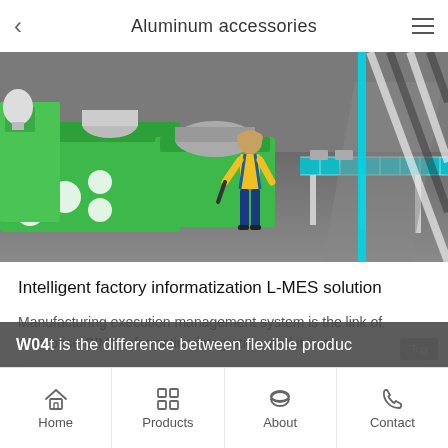Aluminum accessories
[Figure (illustration): 3D rendering of an industrial factory floor with green manufacturing machinery, a worker in yellow shirt and blue overalls, and a conveyor belt system extending to the right against a grey floor background.]
Intelligent factory informatization L-MES solution
Manufacturing execution management system is the link of enterprise CIMS information integration, and it is an...
What is the difference between flexible produc
Home  Products  About  Contact